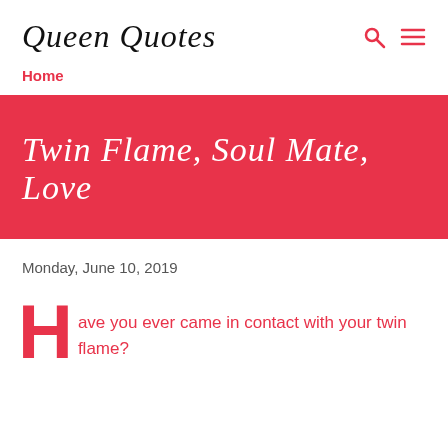Queen Quotes
Home
Twin Flame, Soul Mate, Love
Monday, June 10, 2019
Have you ever came in contact with your twin flame?